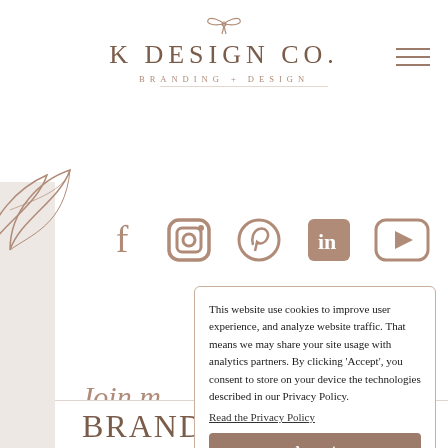[Figure (logo): K Design Co. branding and design logo with bow icon above text and tagline 'BRANDING + DESIGN' below, with hamburger menu icon top right]
[Figure (illustration): Leaf/botanical outline decoration on left side]
[Figure (infographic): Row of social media icons: Facebook, Instagram, Pinterest, LinkedIn, YouTube in dusty rose/brown color]
Join m
BRAND
This website use cookies to improve user experience, and analyze website traffic. That means we may share your site usage with analytics partners. By clicking 'Accept', you consent to store on your device the technologies described in our Privacy Policy.
Read the Privacy Policy
Accept